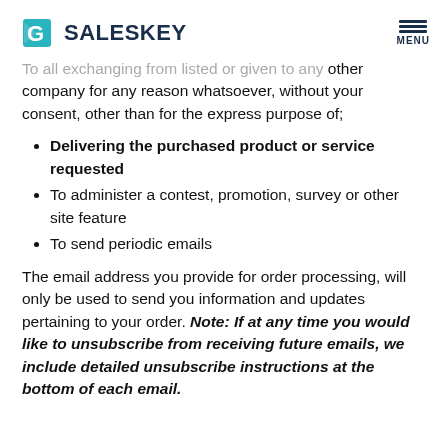SALESKEY — MENU
To all exchanging from listed or given to any other company for any reason whatsoever, without your consent, other than for the express purpose of;
Delivering the purchased product or service requested
To administer a contest, promotion, survey or other site feature
To send periodic emails
The email address you provide for order processing, will only be used to send you information and updates pertaining to your order. Note: If at any time you would like to unsubscribe from receiving future emails, we include detailed unsubscribe instructions at the bottom of each email.